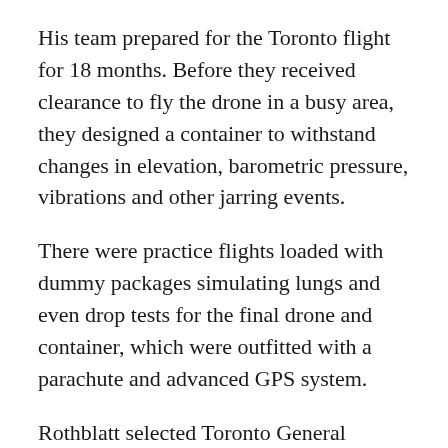His team prepared for the Toronto flight for 18 months. Before they received clearance to fly the drone in a busy area, they designed a container to withstand changes in elevation, barometric pressure, vibrations and other jarring events.
There were practice flights loaded with dummy packages simulating lungs and even drop tests for the final drone and container, which were outfitted with a parachute and advanced GPS system.
Rothblatt selected Toronto General Hospital because it was first to successfully complete a lung and double lung transplant.
"I felt that the karma of the universe would be right if the first ever drone transplant was also done at Toronto General Hospital," said Rothblatt, who